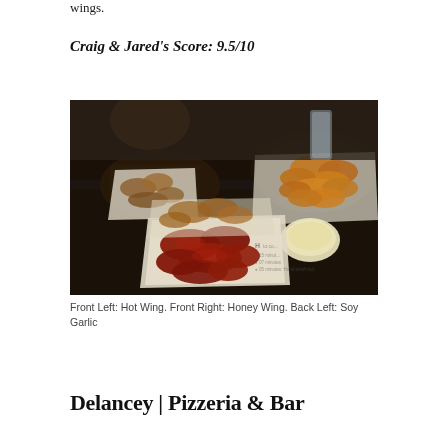wings.
Craig & Jared's Score: 9.5/10
[Figure (photo): Photo of multiple baskets of chicken wings on a dark tray. Front Left: Hot Wing. Front Right: Honey Wing. Back Left: Soy Garlic. Wings are served in paper-lined baskets with a dipping sauce visible.]
Front Left: Hot Wing. Front Right: Honey Wing. Back Left: Soy Garlic
Delancey | Pizzeria & Bar